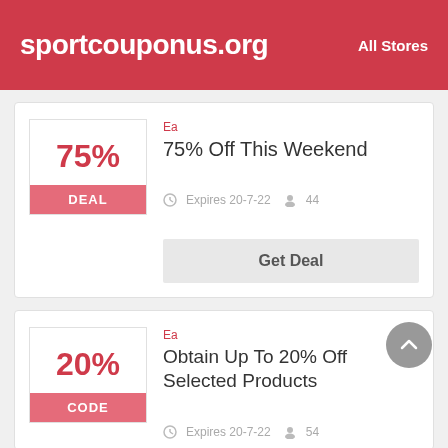sportcouponus.org   All Stores
Ea
75% Off This Weekend
Expires 20-7-22  44
Get Deal
Ea
Obtain Up To 20% Off Selected Products
Expires 20-7-22  54